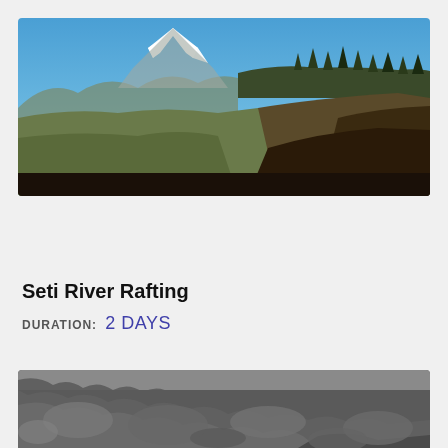[Figure (photo): Landscape photo showing a snow-capped mountain peak (likely Machhapuchhre/Fishtail in Nepal) in the background under a clear blue sky, with terraced hillside fields and trees in the foreground.]
Seti River Rafting
DURATION: 2 DAYS
[Figure (photo): Close-up photo of rugged rocky cliff face or stone wall with uneven textured rocks in dark grey tones.]